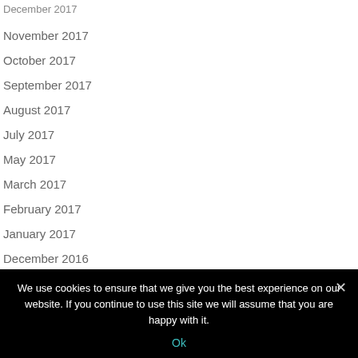December 2017
November 2017
October 2017
September 2017
August 2017
July 2017
May 2017
March 2017
February 2017
January 2017
December 2016
We use cookies to ensure that we give you the best experience on our website. If you continue to use this site we will assume that you are happy with it.
Ok